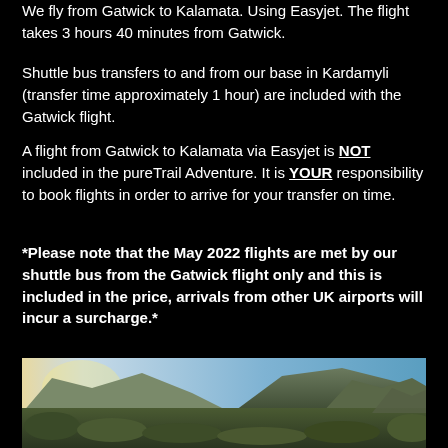We fly from Gatwick to Kalamata. Using Easyjet. The flight takes 3 hours 40 minutes from Gatwick.
Shuttle bus transfers to and from our base in Kardamyli (transfer time approximately 1 hour) are included with the Gatwick flight.
A flight from Gatwick to Kalamata via Easyjet is NOT included in the pureTrail Adventure. It is YOUR responsibility to book flights in order to arrive for your transfer on time.
*Please note that the May 2022 flights are met by our shuttle bus from the Gatwick flight only and this is included in the price, arrivals from other UK airports will incur a surcharge.*
[Figure (photo): Mountain landscape with valley, rocky peaks, and vegetation in warm evening light with a blue sky]